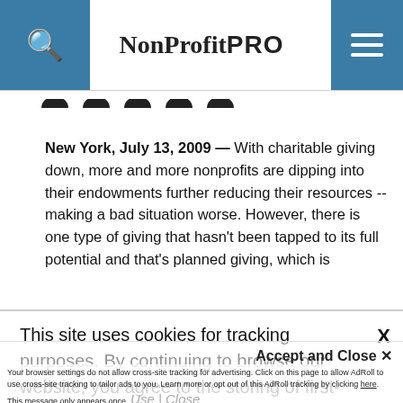NonProfit PRO
[Figure (illustration): Five social media icon buttons in dark circular/rounded shapes in a row]
New York, July 13, 2009 — With charitable giving down, more and more nonprofits are dipping into their endowments further reducing their resources -- making a bad situation worse. However, there is one type of giving that hasn't been tapped to its full potential and that's planned giving, which is
This site uses cookies for tracking purposes. By continuing to browse our website, you agree to the storing of first- and third-party cookies on your device to enhance site navigation, analyze site usage, and assist in our marketing and
Your browser settings do not allow cross-site tracking for advertising. Click on this page to allow AdRoll to use cross-site tracking to tailor ads to you. Learn more or opt out of this AdRoll tracking by clicking here. This message only appears once.